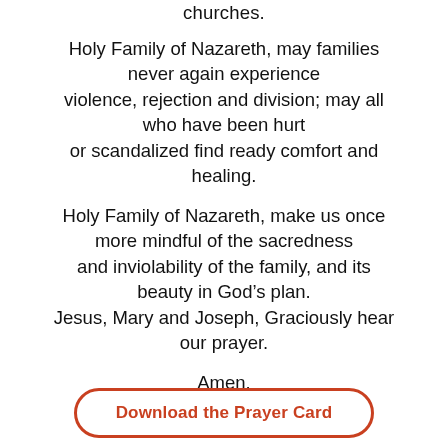churches.
Holy Family of Nazareth, may families never again experience violence, rejection and division; may all who have been hurt or scandalized find ready comfort and healing.
Holy Family of Nazareth, make us once more mindful of the sacredness and inviolability of the family, and its beauty in God’s plan. Jesus, Mary and Joseph, Graciously hear our prayer.
Amen.
Pope Francis, Amoris Laetitia
Download the Prayer Card